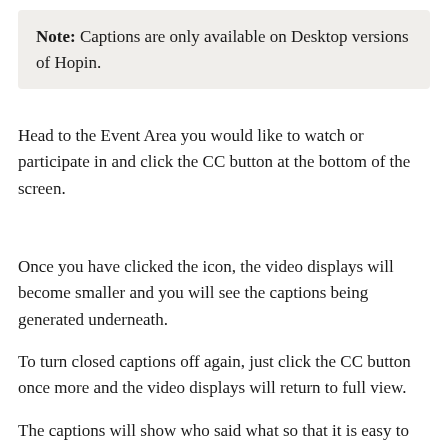Note: Captions are only available on Desktop versions of Hopin.
Head to the Event Area you would like to watch or participate in and click the CC button at the bottom of the screen.
Once you have clicked the icon, the video displays will become smaller and you will see the captions being generated underneath.
To turn closed captions off again, just click the CC button once more and the video displays will return to full view.
The captions will show who said what so that it is easy to follow the conversation.
Will captions be recorded?